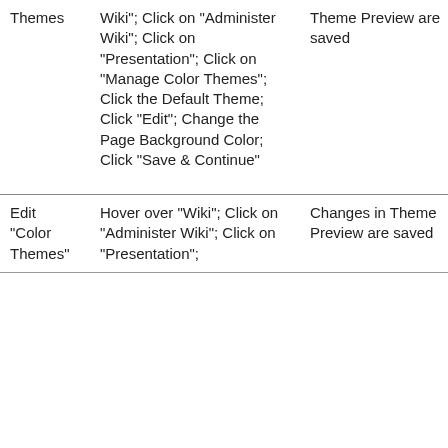| Themes | Wiki"; Click on "Administer Wiki"; Click on "Presentation"; Click on "Manage Color Themes"; Click the Default Theme; Click "Edit"; Change the Page Background Color; Click "Save & Continue" | Theme Preview are saved | Not Tested | - |
| --- | --- | --- | --- | --- |
| Edit "Color Themes" | Hover over "Wiki"; Click on "Administer Wiki"; Click on "Presentation"; | Changes in Theme Preview are saved | Not Tested | - |